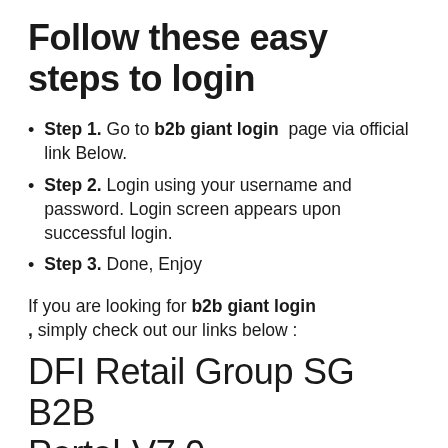Follow these easy steps to login
Step 1. Go to b2b giant login page via official link Below.
Step 2. Login using your username and password. Login screen appears upon successful login.
Step 3. Done, Enjoy
If you are looking for b2b giant login , simply check out our links below :
DFI Retail Group SG B2B Portal-V7.0